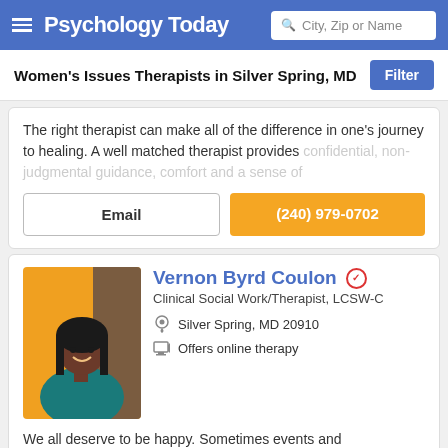Psychology Today — City, Zip or Name search bar
Women's Issues Therapists in Silver Spring, MD
The right therapist can make all of the difference in one's journey to healing. A well matched therapist provides confidential, non-judgmental guidance, comfort and a sense of
Email | (240) 979-0702
Vernon Byrd Coulon
Clinical Social Work/Therapist, LCSW-C
Silver Spring, MD 20910
Offers online therapy
We all deserve to be happy. Sometimes events and circumstances may get in our way. Using holistic approaches to